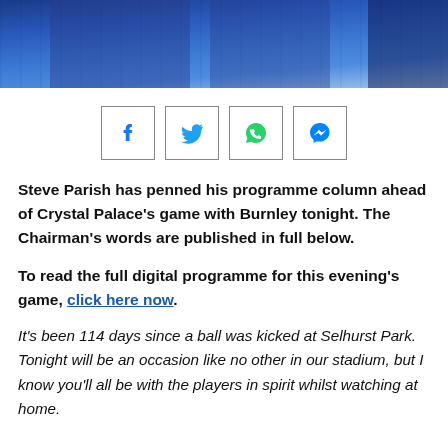[Figure (photo): Partial photo of people in suits standing on a football pitch]
[Figure (infographic): Social share buttons: Facebook, Twitter, WhatsApp, Messenger]
Steve Parish has penned his programme column ahead of Crystal Palace's game with Burnley tonight. The Chairman's words are published in full below.
To read the full digital programme for this evening's game, click here now.
It's been 114 days since a ball was kicked at Selhurst Park. Tonight will be an occasion like no other in our stadium, but I know you'll all be with the players in spirit whilst watching at home.